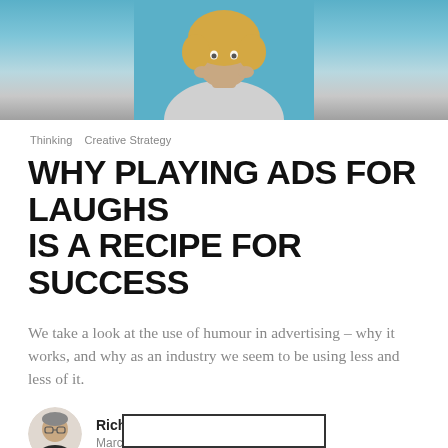[Figure (photo): Woman with curly blonde hair against a blue background, hands near her face]
Thinking   Creative Strategy
WHY PLAYING ADS FOR LAUGHS IS A RECIPE FOR SUCCESS
We take a look at the use of humour in advertising – why it works, and why as an industry we seem to be using less and less of it.
Richard Parker
March 1, 2021 . 2min read